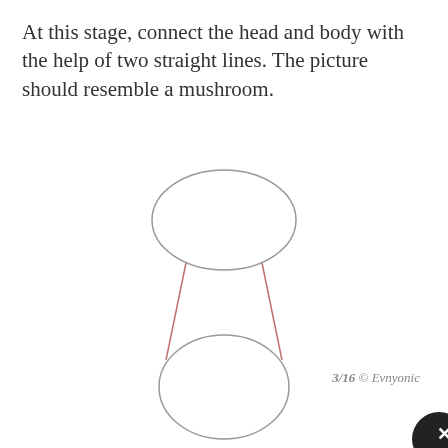At this stage, connect the head and body with the help of two straight lines. The picture should resemble a mushroom.
[Figure (illustration): A mushroom-like drawing tutorial step showing two ellipses (head at top, body at bottom) connected by two slightly converging straight reddish-pink lines forming a neck/stem shape.]
3/16 © Evnyonic